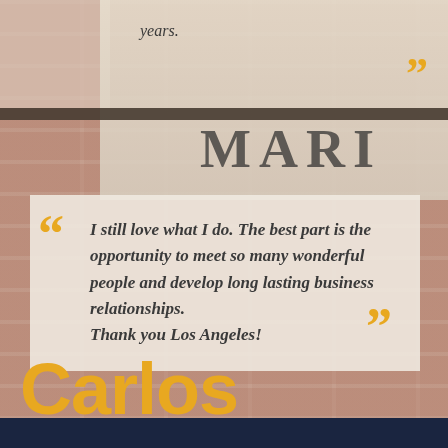[Figure (photo): Background photo of a brick wall with a white/beige sign area at the top showing partial text 'MARI' in large serif letters. A dark horizontal bar separates the sign area from the brick below.]
years.
”
MARI
“ I still love what I do. The best part is the opportunity to meet so many wonderful people and develop long lasting business relationships. Thank you Los Angeles! ”
Carlos